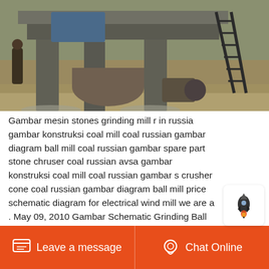[Figure (photo): Photograph of a grinding mill / coal mill machine on a construction site outdoors, showing heavy industrial machinery with cylindrical drum, concrete pillars, metal staircase on the right side, and motor components.]
Gambar mesin stones grinding mill r in russia gambar konstruksi coal mill coal russian gambar diagram ball mill coal russian gambar spare part stone chruser coal russian avsa gambar konstruksi coal mill coal russian gambar s crusher cone coal russian gambar diagram ball mill price schematic diagram for electrical wind mill we are a . May 09, 2010 Gambar Schematic Grinding Ball Mill For Power Plant. Gambar schematic grinding ball mill for power plant ball mill schematic diagram.Ball stone mill schematic classical milling illustrations angelfire classical milling illustrations of
[Figure (other): Small rocket/notification icon overlay in white rounded rectangle]
Leave a message   Chat Online